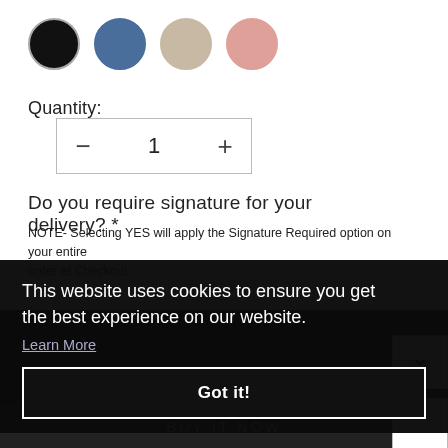[Figure (illustration): Four color option circles: black, blue/steel, tan/beige, and dusty pink]
Quantity:
[Figure (other): Quantity selector control with minus button, value '1', and plus button inside a bordered rectangle]
Do you require signature for your delivery? *
NOTE- Selecting YES will apply the Signature Required option on your entire order at Checkout.
This website uses cookies to ensure you get the best experience on our website.
Learn More
Got it!